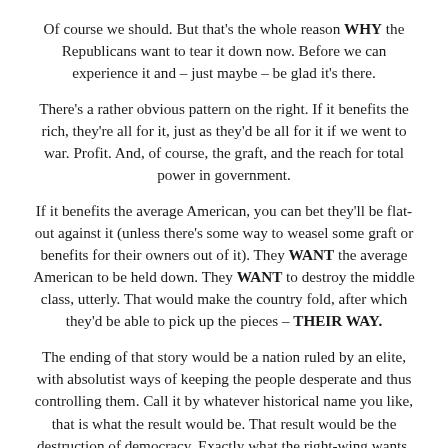Of course we should. But that's the whole reason WHY the Republicans want to tear it down now. Before we can experience it and – just maybe – be glad it's there.
There's a rather obvious pattern on the right. If it benefits the rich, they're all for it, just as they'd be all for it if we went to war. Profit. And, of course, the graft, and the reach for total power in government.
If it benefits the average American, you can bet they'll be flat-out against it (unless there's some way to weasel some graft or benefits for their owners out of it). They WANT the average American to be held down. They WANT to destroy the middle class, utterly. That would make the country fold, after which they'd be able to pick up the pieces – THEIR WAY.
The ending of that story would be a nation ruled by an elite, with absolutist ways of keeping the people desperate and thus controlling them. Call it by whatever historical name you like, that is what the result would be. That result would be the destruction of democracy. Exactly what the right-wing wants.
We will either cut them off, or we'll all be lost to their